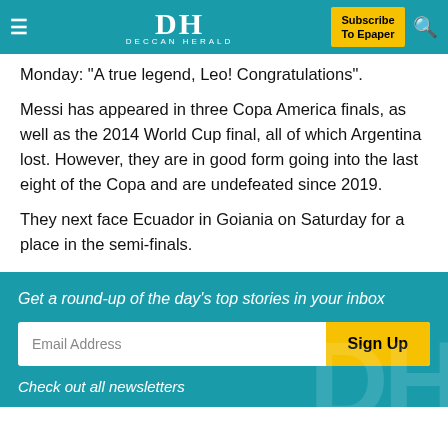DH DECCAN HERALD | Subscribe To Epaper
Monday: "A true legend, Leo! Congratulations".
Messi has appeared in three Copa America finals, as well as the 2014 World Cup final, all of which Argentina lost. However, they are in good form going into the last eight of the Copa and are undefeated since 2019.
They next face Ecuador in Goiania on Saturday for a place in the semi-finals.
Get a round-up of the day's top stories in your inbox
Email Address | Sign Up
Check out all newsletters